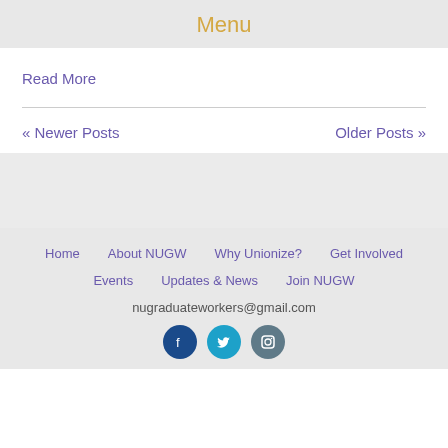Menu
Read More
« Newer Posts    Older Posts »
Home  About NUGW  Why Unionize?  Get Involved  Events  Updates & News  Join NUGW  nugraduateworkers@gmail.com